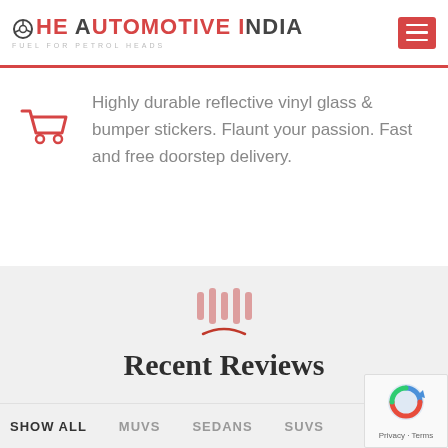THE AUTOMOTIVE INDIA — FUEL FOR PETROL HEADS
Highly durable reflective vinyl glass & bumper stickers. Flaunt your passion. Fast and free doorstep delivery.
Recent Reviews
SHOW ALL
MUVS
SEDANS
SUVS